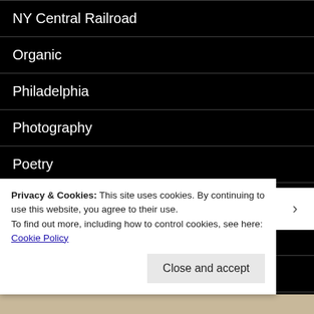NY Central Railroad
Organic
Philadelphia
Photography
Poetry
Politics
psychology
Railroads
S...
Privacy & Cookies: This site uses cookies. By continuing to use this website, you agree to their use.
To find out more, including how to control cookies, see here: Cookie Policy
Close and accept